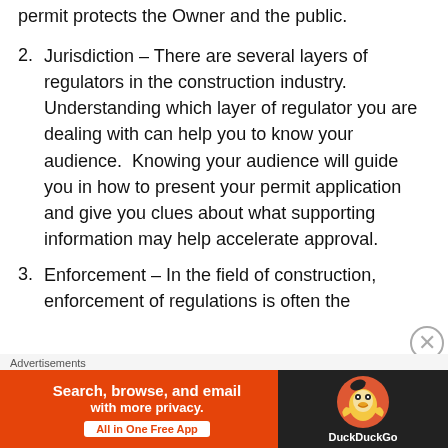permit protects the Owner and the public.
2. Jurisdiction – There are several layers of regulators in the construction industry. Understanding which layer of regulator you are dealing with can help you to know your audience. Knowing your audience will guide you in how to present your permit application and give you clues about what supporting information may help accelerate approval.
3. Enforcement – In the field of construction, enforcement of regulations is often the
Advertisements
[Figure (other): DuckDuckGo advertisement banner: Search, browse, and email with more privacy. All in One Free App]